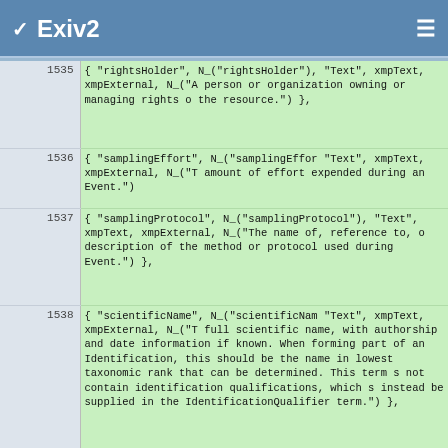Exiv2
| Line | Code |
| --- | --- |
| 1535 |         { "rightsHolder",      N_("rightsHolder"),
"Text",      xmpText,      xmpExternal,      N_("A
person or organization owning or managing rights o
the resource.")      }, |
| 1536 |         { "samplingEffort",      N_("samplingEffor
"Text",      xmpText,      xmpExternal,      N_("T
amount of effort expended during an Event.") |
| 1537 |         { "samplingProtocol",
N_("samplingProtocol"),      "Text",      xmpText,
xmpExternal,      N_("The name of, reference to, o
description of the method or protocol used during
Event.")      }, |
| 1538 |         { "scientificName",      N_("scientificNam
"Text",      xmpText,      xmpExternal,      N_("T
full scientific name, with authorship and date
information if known. When forming part of an
Identification, this should be the name in lowest
taxonomic rank that can be determined. This term s
not contain identification qualifications, which s
instead be supplied in the IdentificationQualifier
term.")      }, |
| 1539 |         { "scientificNameAuthorship",
N_("scientificNameAuthorship"),      "Text",
xmpText,      xmpExternal,      N_("The authorship
information for the scientificName formatted accor
to the conventions of the applicable
nomenclaturalCode.")      }, |